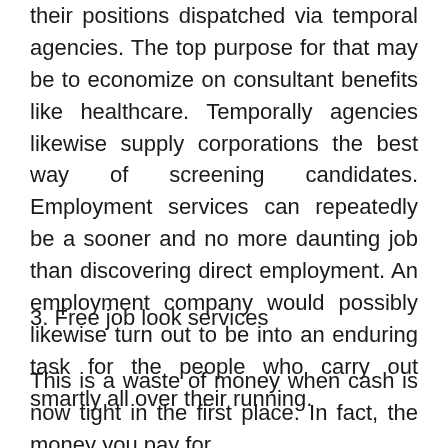their positions dispatched via temporal agencies. The top purpose for that may be to economize on consultant benefits like healthcare. Temporally agencies likewise supply corporations the best way of screening candidates. Employment services can repeatedly be a sooner and no more daunting job than discovering direct employment. An employment company would possibly likewise turn out to be into an enduring task for the people who carry out smartly all over their running.
3. Free job look services
This is a waste of money when cash is now tight in the first place. In fact, the money you pay for job searching sites is in enormous help, but if...